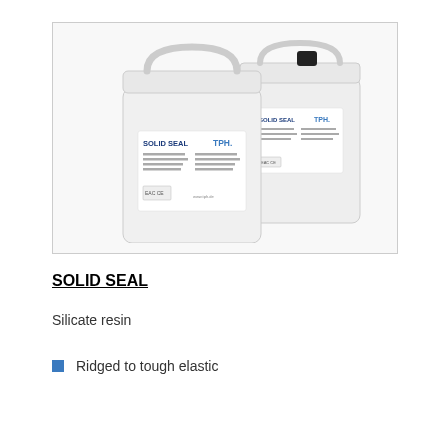[Figure (photo): Two white plastic jerry cans/containers labeled 'SOLID SEAL' and 'TPH.' on their labels. One larger canister in front-left, one slightly smaller behind-right with a black cap visible.]
SOLID SEAL
Silicate resin
Ridged to tough elastic